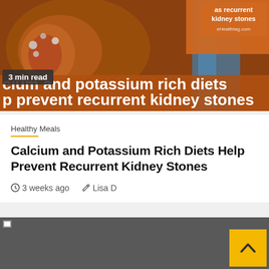[Figure (illustration): Medical illustration showing kidney anatomy with kidney stones on a warm brown/orange background. Top right corner shows text 'as recurrent kidney stones' on an orange box with a website watermark.]
3 min read
cium and potassium rich diets
p prevent recurrent kidney stones
Healthy Meals
Calcium and Potassium Rich Diets Help Prevent Recurrent Kidney Stones
3 weeks ago   Lisa D
[Figure (photo): Dark gray image placeholder (broken/loading image) for a second article or continuation, with a yellow scroll-to-top button in the bottom right corner showing an upward caret.]